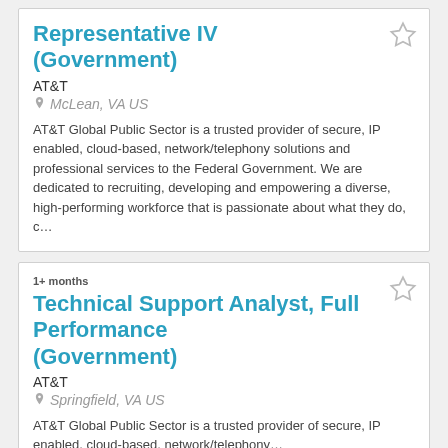Representative IV (Government)
AT&T
McLean, VA US
AT&T Global Public Sector is a trusted provider of secure, IP enabled, cloud-based, network/telephony solutions and professional services to the Federal Government. We are dedicated to recruiting, developing and empowering a diverse, high-performing workforce that is passionate about what they do, c...
1+ months
Technical Support Analyst, Full Performance (Government)
AT&T
Springfield, VA US
AT&T Global Public Sector is a trusted provider of secure, IP enabled, cloud-based, network/telephony...